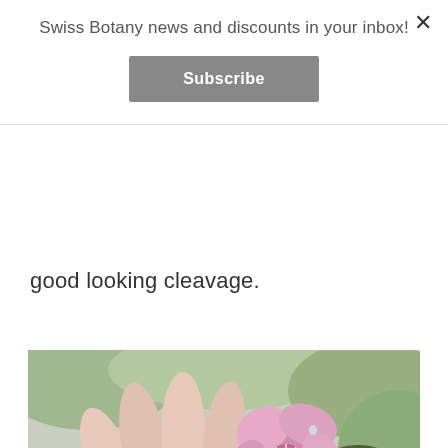Swiss Botany news and discounts in your inbox!
Subscribe
good looking cleavage.
[Figure (photo): A hand holding a pink flower (azalea) with green blurred background and another pink flower visible on the right.]